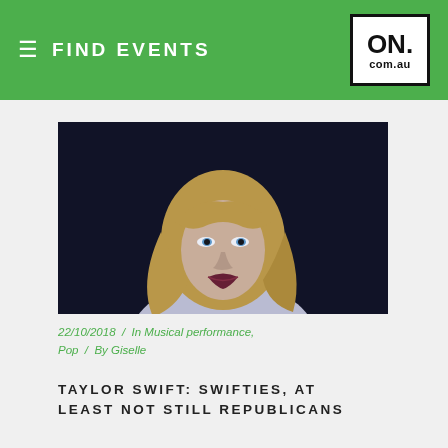FIND EVENTS
[Figure (photo): Portrait of Taylor Swift against a dark background, with blonde wavy hair and wearing white.]
22/10/2018 / In Musical performance, Pop / By Giselle
TAYLOR SWIFT: SWIFTIES, AT LEAST NOT STILL REPUBLICANS
She does indeed have a